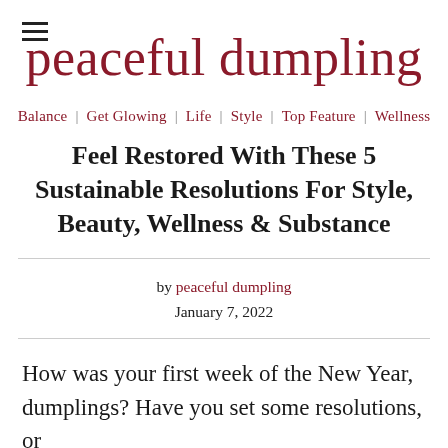peaceful dumpling
Balance | Get Glowing | Life | Style | Top Feature | Wellness
Feel Restored With These 5 Sustainable Resolutions For Style, Beauty, Wellness & Substance
by peaceful dumpling
January 7, 2022
How was your first week of the New Year, dumplings? Have you set some resolutions, or